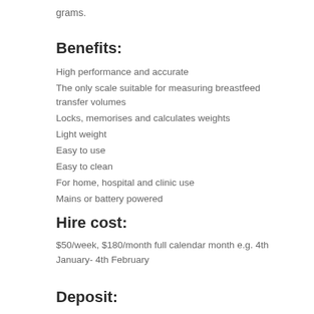grams.
Benefits:
High performance and accurate
The only scale suitable for measuring breastfeed transfer volumes
Locks, memorises and calculates weights
Light weight
Easy to use
Easy to clean
For home, hospital and clinic use
Mains or battery powered
Hire cost:
$50/week, $180/month full calendar month e.g. 4th January- 4th February
Deposit:
A $200 deposit is required when hiring the scales. This is refunded once the scales have been returned in a clean, undamaged and working condition.